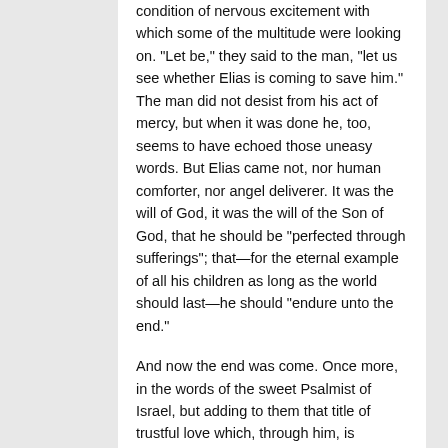condition of nervous excitement with which some of the multitude were looking on. "Let be," they said to the man, "let us see whether Elias is coming to save him." The man did not desist from his act of mercy, but when it was done he, too, seems to have echoed those uneasy words. But Elias came not, nor human comforter, nor angel deliverer. It was the will of God, it was the will of the Son of God, that he should be "perfected through sufferings"; that—for the eternal example of all his children as long as the world should last—he should "endure unto the end."
And now the end was come. Once more, in the words of the sweet Psalmist of Israel, but adding to them that title of trustful love which, through him, is